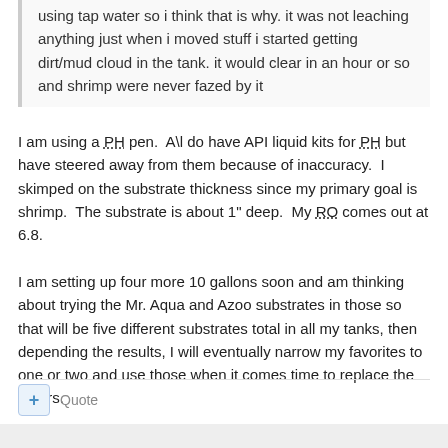using tap water so i think that is why. it was not leaching anything just when i moved stuff i started getting dirt/mud cloud in the tank. it would clear in an hour or so and shrimp were never fazed by it
I am using a PH pen. A\l do have API liquid kits for PH but have steered away from them because of inaccuracy. I skimped on the substrate thickness since my primary goal is shrimp. The substrate is about 1" deep. My RO comes out at 6.8.
I am setting up four more 10 gallons soon and am thinking about trying the Mr. Aqua and Azoo substrates in those so that will be five different substrates total in all my tanks, then depending the results, I will eventually narrow my favorites to one or two and use those when it comes time to replace the others.